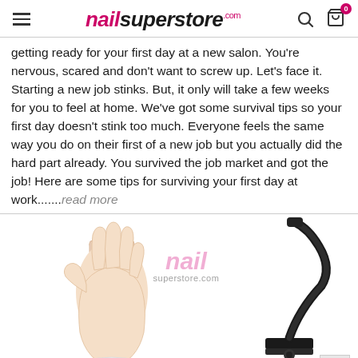nailsuperstore.com
getting ready for your first day at a new salon. You're nervous, scared and don't want to screw up. Let's face it. Starting a new job stinks. But, it only will take a few weeks for you to feel at home. We've got some survival tips so your first day doesn't stink too much. Everyone feels the same way you do on their first of a new job but you actually did the hard part already. You survived the job market and got the job! Here are some tips for surviving your first day at work.......read more
[Figure (photo): A practice nail training hand (flesh-colored mannequin hand) on the left, and a black flexible arm clamp/holder on the right, with a nailsuperstore.com watermark in the center. Product photo on white background.]